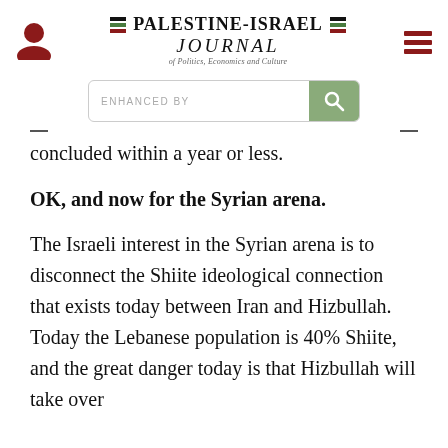Palestine-Israel Journal of Politics, Economics and Culture
concluded within a year or less.
OK, and now for the Syrian arena.
The Israeli interest in the Syrian arena is to disconnect the Shiite ideological connection that exists today between Iran and Hizbullah. Today the Lebanese population is 40% Shiite, and the great danger today is that Hizbullah will take over